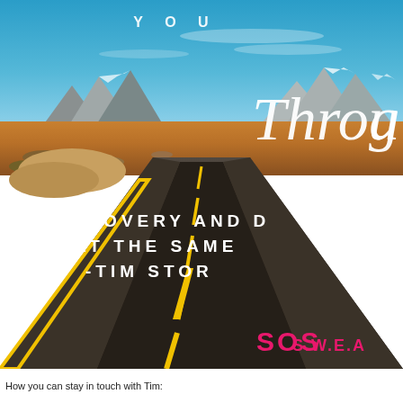[Figure (photo): A long straight desert road extending to the horizon with mountains in the background under a blue sky. Overlaid with motivational text about recovery. SOS S.W.E.A.T. logo in pink at bottom right.]
How you can stay in touch with Tim: